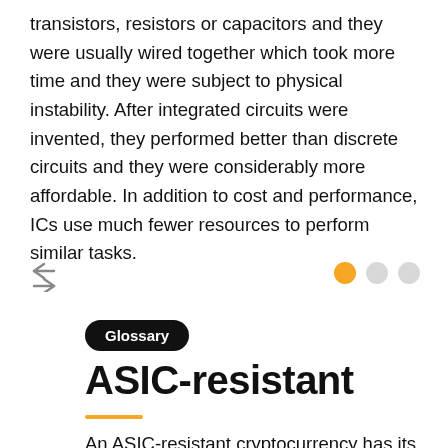transistors, resistors or capacitors and they were usually wired together which took more time and they were subject to physical instability. After integrated circuits were invented, they performed better than discrete circuits and they were considerably more affordable. In addition to cost and performance, ICs use much fewer resources to perform similar tasks.
[Figure (other): Navigation arrows (back/forward) on the left and three pagination dots (one filled orange, two gray) on the right]
Glossary
ASIC-resistant
An ASIC-resistant cryptocurrency has its protocol